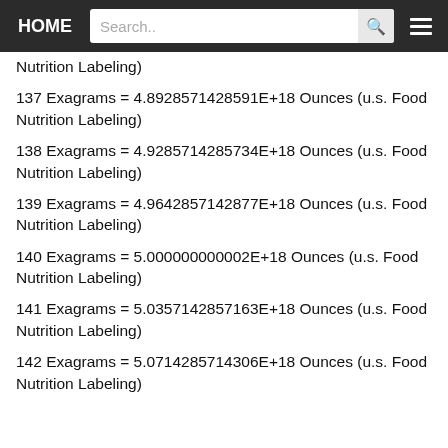HOME | Search.. | [search button] | [menu]
Nutrition Labeling)
137 Exagrams = 4.8928571428591E+18 Ounces (u.s. Food Nutrition Labeling)
138 Exagrams = 4.9285714285734E+18 Ounces (u.s. Food Nutrition Labeling)
139 Exagrams = 4.9642857142877E+18 Ounces (u.s. Food Nutrition Labeling)
140 Exagrams = 5.000000000002E+18 Ounces (u.s. Food Nutrition Labeling)
141 Exagrams = 5.0357142857163E+18 Ounces (u.s. Food Nutrition Labeling)
142 Exagrams = 5.0714285714306E+18 Ounces (u.s. Food Nutrition Labeling)